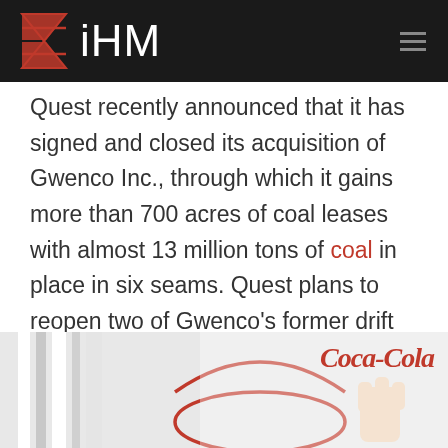iHM
Quest recently announced that it has signed and closed its acquisition of Gwenco Inc., through which it gains more than 700 acres of coal leases with almost 13 million tons of coal in place in six seams. Quest plans to reopen two of Gwenco's former drift mines and begin commercial coal production. Coal produced at these mines will be sold to public utility companies in Kentucky and Ohio.
[Figure (photo): Bottom portion of page showing a Coca-Cola branded image with a red circular lid/cap and a hand, with the Coca-Cola logo visible in the upper right of the image.]